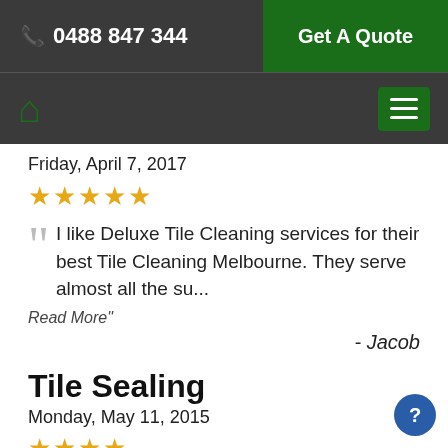📞 0488 847 344 | Get A Quote
Home icon | Menu
Friday, April 7, 2017
★★★★★
I like Deluxe Tile Cleaning services for their best Tile Cleaning Melbourne. They serve almost all the su...
Read More"
- Jacob
Tile Sealing
Monday, May 11, 2015
★★★★